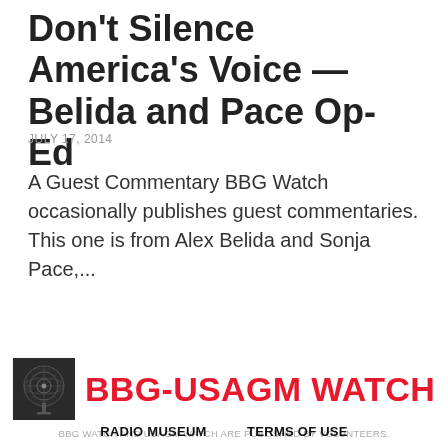Don't Silence America's Voice — Belida and Pace Op-Ed
JULY 17, 2014
A Guest Commentary BBG Watch occasionally publishes guest commentaries. This one is from Alex Belida and Sonja Pace,...
[Figure (logo): BBG-USAGM Watch logo with radio dish image and red bold text BBG-USAGM WATCH]
BBG WATCH AND USAGM WATCH ARE PUBLISHED BY VOLUNTEERS.
RADIO MUSEUM   TERMS OF USE